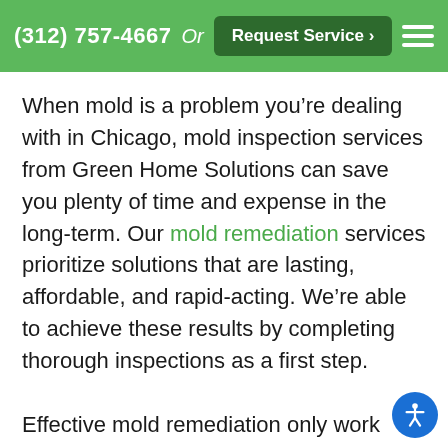(312) 757-4667  Or  Request Service >
When mold is a problem you're dealing with in Chicago, mold inspection services from Green Home Solutions can save you plenty of time and expense in the long-term. Our mold remediation services prioritize solutions that are lasting, affordable, and rapid-acting. We're able to achieve these results by completing thorough inspections as a first step.

Effective mold remediation only work when an indoor environment is